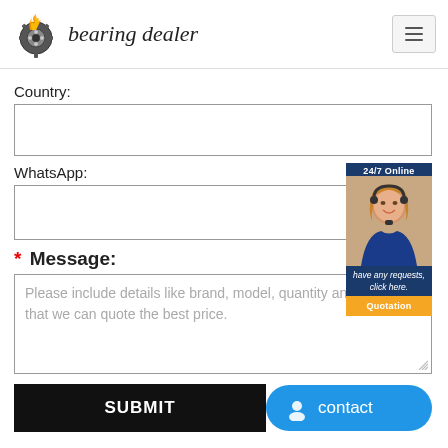[Figure (logo): Bearing dealer logo with flaming gear wheel and italic text 'bearing dealer']
Country:
WhatsApp:
* Message:
Please include details like brand, model, quantity and etc., so that we can quote the best price.
[Figure (photo): 24/7 Online floating panel with customer service representative photo, tagline 'have any requests, click here.', and orange Quotation button]
SUBMIT
contact